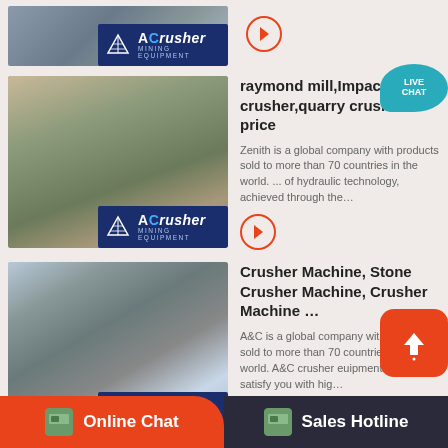[Figure (screenshot): Top partial result row showing ACrusher Mining Equipment thumbnail with arrow button]
[Figure (screenshot): Second search result: quarry crusher image with ACrusher logo overlay]
raymond mill,Impact crusher,quarry crusher fo price
Zenith is a global company with products sold to more than 70 countries in the world. ... of hydraulic technology, achieved through the...
[Figure (screenshot): Third search result: stone crusher conveyor image with ACrusher logo overlay]
Crusher Machine, Stone Crusher Machine, Crusher Machine ...
A&C is a global company with products sold to more than 70 countries in the world. A&C crusher euipments would satisfy you with hig...
News&Events – Mining Machine M
Ulti...
Online Chat | Sales Hotline